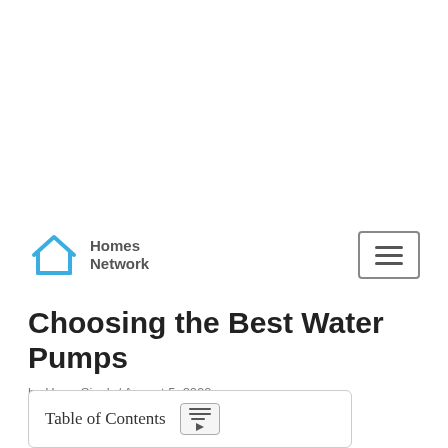[Figure (logo): Homes Network logo with blue house icon and text 'Homes Network']
Choosing the Best Water Pumps
by Harry Singh / August 5, 2020
Table of Contents